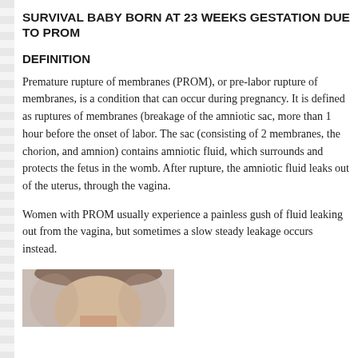SURVIVAL BABY BORN AT 23 WEEKS GESTATION DUE TO PROM
DEFINITION
Premature rupture of membranes (PROM), or pre-labor rupture of membranes, is a condition that can occur during pregnancy. It is defined as ruptures of membranes (breakage of the amniotic sac, more than 1 hour before the onset of labor. The sac (consisting of 2 membranes, the chorion, and amnion) contains amniotic fluid, which surrounds and protects the fetus in the womb. After rupture, the amniotic fluid leaks out of the uterus, through the vagina.
Women with PROM usually experience a painless gush of fluid leaking out from the vagina, but sometimes a slow steady leakage occurs instead.
[Figure (photo): Partial photo of a woman, showing the face/head area, cropped at the bottom of the page.]